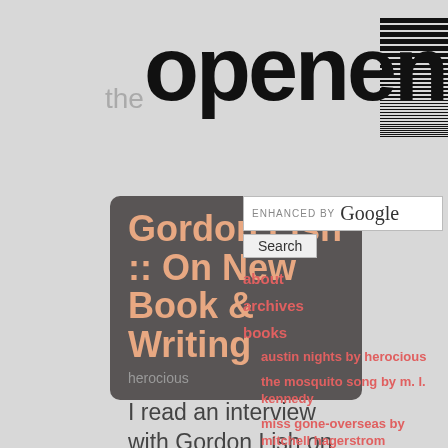the openend
Gordon Lish :: On New Book & Writing
herocious
I read an interview with Gordon Lish on
ENHANCED BY Google
Search
about
archives
books
austin nights by herocious
the mosquito song by m. l. kennedy
miss gone-overseas by mitchell hagerstrom
heart of scorpio by joseph avski & mark david mcgraw
the persistence of crows by grant maierhofer